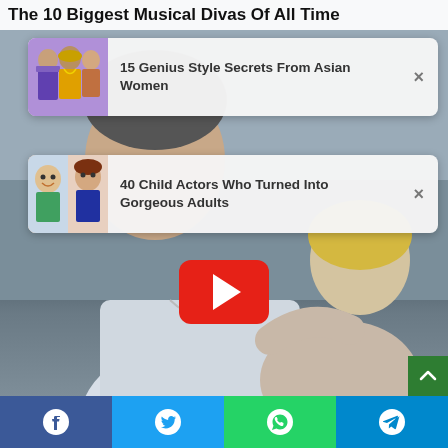The 10 Biggest Musical Divas Of All Time
[Figure (screenshot): Ad card: thumbnail of Asian women in colorful traditional dress with text '15 Genius Style Secrets From Asian Women' and close X button]
[Figure (screenshot): Ad card: thumbnail of child actress and adult actress with text '40 Child Actors Who Turned Into Gorgeous Adults' and close X button]
[Figure (photo): Background photo of an adult and a child (blond) embracing on a beach, with a YouTube-style red play button overlay]
[Figure (infographic): Share bar at bottom with Facebook, Twitter, WhatsApp, and Telegram icons]